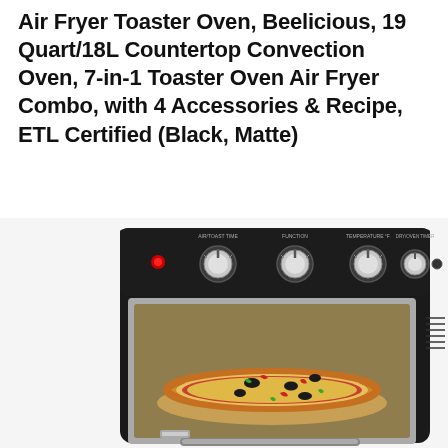Air Fryer Toaster Oven, Beelicious, 19 Quart/18L Countertop Convection Oven, 7-in-1 Toaster Oven Air Fryer Combo, with 4 Accessories & Recipe, ETL Certified (Black, Matte)
[Figure (photo): A black matte air fryer toaster oven with four control knobs on top panel and a glass door showing a pizza cooking inside on a rack. The oven has a stainless steel trim around the door.]